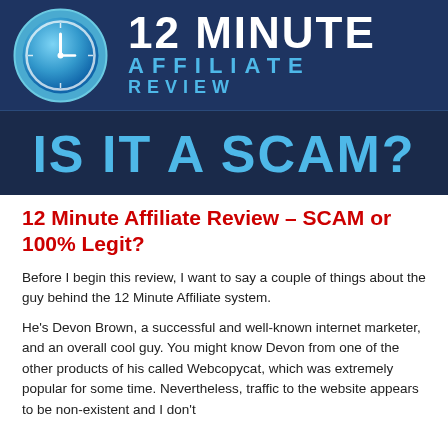[Figure (illustration): 12 Minute Affiliate Review banner with a blue clock icon on the left, '12 MINUTE AFFILIATE REVIEW' text in white/cyan on dark blue background, and 'IS IT A SCAM?' text in large cyan letters on navy background below.]
12 Minute Affiliate Review – SCAM or 100% Legit?
Before I begin this review, I want to say a couple of things about the guy behind the 12 Minute Affiliate system.
He's Devon Brown, a successful and well-known internet marketer, and an overall cool guy. You might know Devon from one of the other products of his called Webcopycat, which was extremely popular for some time. Nevertheless, traffic to the website appears to be non-existent and I don't